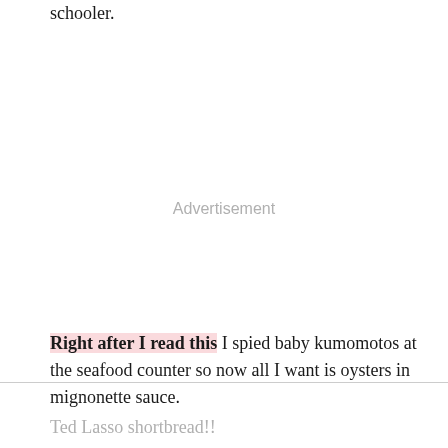schooler.
Advertisement
Right after I read this I spied baby kumomotos at the seafood counter so now all I want is oysters in mignonette sauce.
Ted Lasso shortbread!!